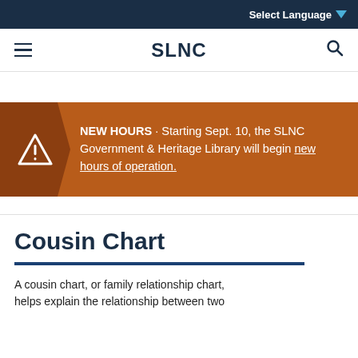Select Language
SLNC
NEW HOURS · Starting Sept. 10, the SLNC Government & Heritage Library will begin new hours of operation.
Cousin Chart
A cousin chart, or family relationship chart, helps explain the relationship between two